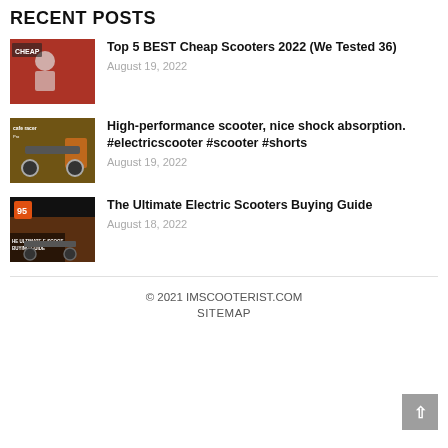RECENT POSTS
Top 5 BEST Cheap Scooters 2022 (We Tested 36)
August 19, 2022
High-performance scooter, nice shock absorption. #electricscooter #scooter #shorts
August 19, 2022
The Ultimate Electric Scooters Buying Guide
August 18, 2022
© 2021 IMSCOOTERIST.COM
SITEMAP